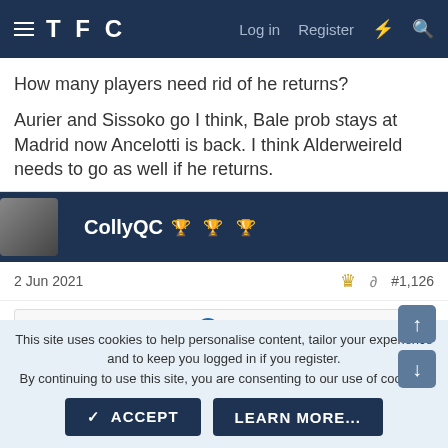TFC — Log in   Register
How many players need rid of he returns?
Aurier and Sissoko go I think, Bale prob stays at Madrid now Ancelotti is back. I think Alderweireld needs to go as well if he returns.
CollyQC 🏆 🏆 🏆
2 Jun 2021   #1,126
Schoolboy'sOwnStuff said:
This site uses cookies to help personalise content, tailor your experience and to keep you logged in if you register.
By continuing to use this site, you are consenting to our use of cookies.
✓ ACCEPT   LEARN MORE...